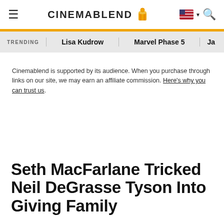CinemaBlend
TRENDING   Lisa Kudrow   Marvel Phase 5   Ja…
Cinemablend is supported by its audience. When you purchase through links on our site, we may earn an affiliate commission. Here's why you can trust us.
Seth MacFarlane Tricked Neil DeGrasse Tyson Into Giving Family